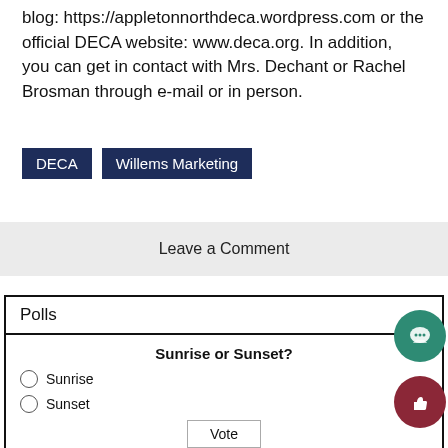blog: https://appletonnorthdeca.wordpress.com or the official DECA website: www.deca.org. In addition, you can get in contact with Mrs. Dechant or Rachel Brosman through e-mail or in person.
DECA
Willems Marketing
Leave a Comment
Polls
Sunrise or Sunset?
Sunrise
Sunset
Vote